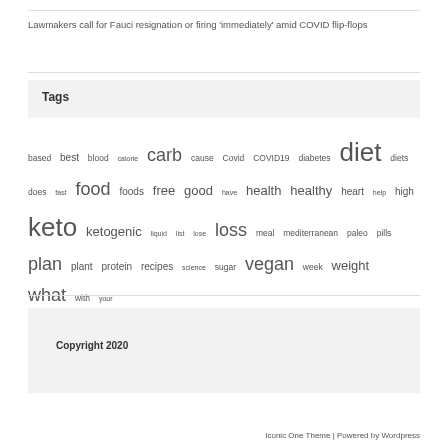Lawmakers call for Fauci resignation or firing ‘immediately’ amid COVID flip-flops
Tags
based best blood calorie carb cause Covid COVID19 diabetes diet diets does fast food foods free good have health healthy heart help high keto ketogenic liquid list lose loss meal mediterranean paleo pills plan plant protein recipes science sugar vegan week weight what with your
Copyright 2020
Iconic One Theme | Powered by Wordpress